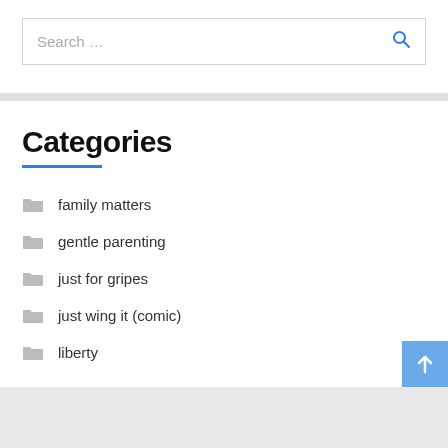[Figure (screenshot): Search input box with placeholder text 'Search ...' and a blue magnifying glass icon on the right]
Categories
family matters
gentle parenting
just for gripes
just wing it (comic)
liberty